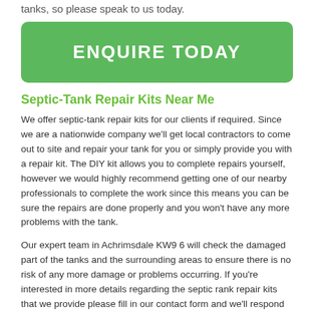tanks, so please speak to us today.
ENQUIRE TODAY
Septic-Tank Repair Kits Near Me
We offer septic-tank repair kits for our clients if required. Since we are a nationwide company we'll get local contractors to come out to site and repair your tank for you or simply provide you with a repair kit. The DIY kit allows you to complete repairs yourself, however we would highly recommend getting one of our nearby professionals to complete the work since this means you can be sure the repairs are done properly and you won't have any more problems with the tank.
Our expert team in Achrimsdale KW9 6 will check the damaged part of the tanks and the surrounding areas to ensure there is no risk of any more damage or problems occurring. If you're interested in more details regarding the septic rank repair kits that we provide please fill in our contact form and we'll respond right away.
Septic Tank Repair Cost